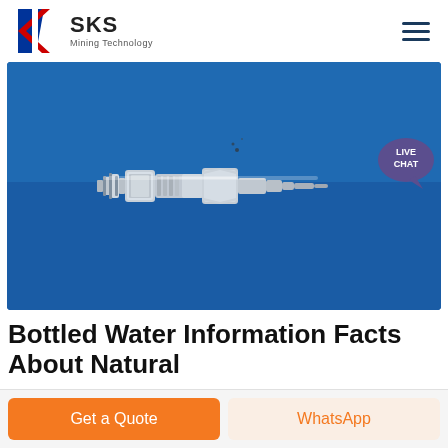SKS Mining Technology
[Figure (photo): A metal hydraulic or pneumatic quick-connect fitting/coupler photographed on a blue background. The fitting is silver/chrome colored with ribbed segments and appears to be a hose barb connector with a locking collar.]
Bottled Water Information Facts About Natural
Get a Quote
WhatsApp